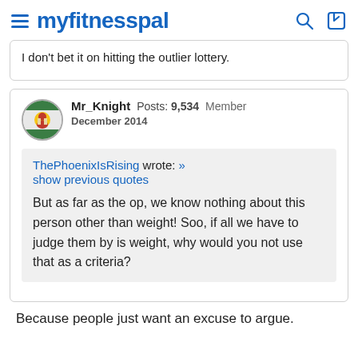myfitnesspal
I don't bet it on hitting the outlier lottery.
Mr_Knight  Posts: 9,534  Member
December 2014
ThePhoenixIsRising wrote: »
show previous quotes

But as far as the op, we know nothing about this person other than weight! Soo, if all we have to judge them by is weight, why would you not use that as a criteria?
Because people just want an excuse to argue.